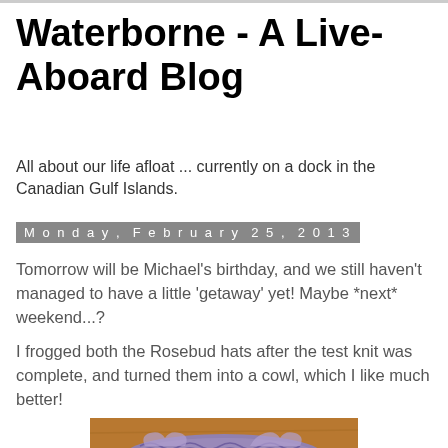Waterborne - A Live-Aboard Blog
All about our life afloat ... currently on a dock in the Canadian Gulf Islands.
Monday, February 25, 2013
Tomorrow will be Michael's birthday, and we still haven't managed to have a little 'getaway' yet! Maybe *next* weekend...?
I frogged both the Rosebud hats after the test knit was complete, and turned them into a cowl, which I like much better!
[Figure (photo): A knitted cowl/hat item in purple/lavender yarn laid flat on a wooden surface]